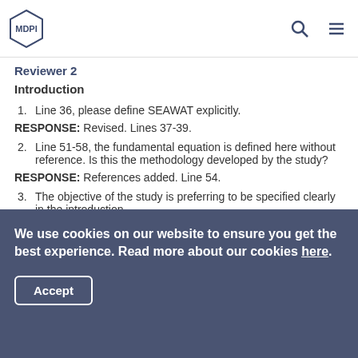MDPI
Reviewer 2
Introduction
1. Line 36, please define SEAWAT explicitly.
RESPONSE: Revised. Lines 37-39.
2. Line 51-58, the fundamental equation is defined here without reference. Is this the methodology developed by the study?
RESPONSE: References added. Line 54.
3. The objective of the study is preferring to be specified clearly in the introduction.
We use cookies on our website to ensure you get the best experience. Read more about our cookies here.